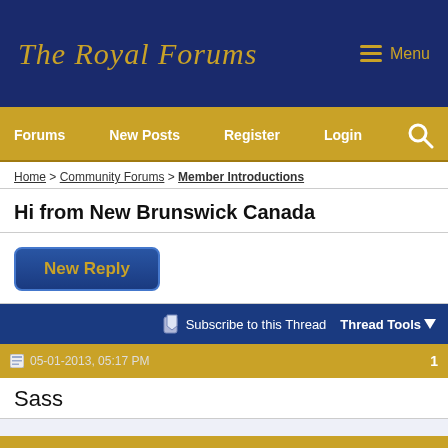The Royal Forums | Menu
Forums | New Posts | Register | Login
Home > Community Forums > Member Introductions
Hi from New Brunswick Canada
New Reply
Subscribe to this Thread | Thread Tools
05-01-2013, 05:17 PM | 1
Sass
Hi, i'm Sass, Canadian and just wanted to say hi to everybody....